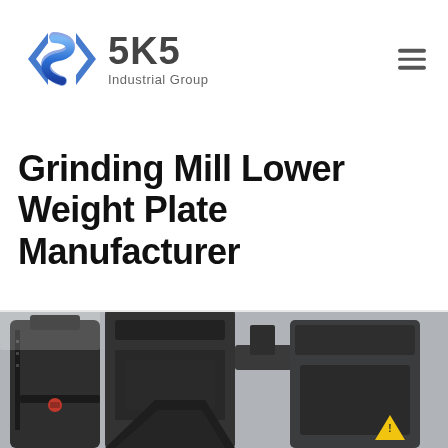[Figure (logo): SKS Industrial Group logo with blue angular S-shaped icon and grey/dark text]
Grinding Mill Lower Weight Plate Manufacturer
[Figure (photo): Industrial grinding mill machinery in a factory setting, showing large dark metal equipment and hoppers]